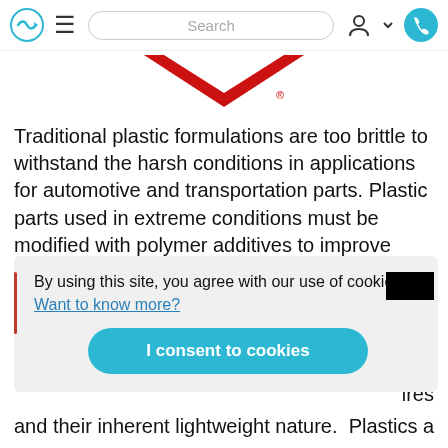Navigation bar with logo, hamburger menu, search bar, user icon, and phone button
[Figure (logo): Partial red logo (chevron/arrow shape) with registered trademark symbol]
Traditional plastic formulations are too brittle to withstand the harsh conditions in applications for automotive and transportation parts. Plastic parts used in extreme conditions must be modified with polymer additives to improve their impact strength and ability to absorb shock.
By using this site, you agree with our use of cookies. Want to know more?
I consent to cookies
e in
ires
and their inherent lightweight nature. Plastics also